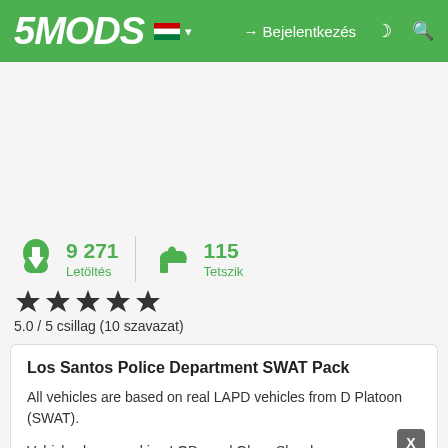5MODS – Bejelentkezés
[Figure (screenshot): 5MODS website navigation bar with logo, Hungarian flag, Bejelentkezés login link, moon icon, and search icon on green background]
9 271 Letöltés | 115 Tetszik
5.0 / 5 csillag (10 szavazat)
Los Santos Police Department SWAT Pack
All vehicles are based on real LAPD vehicles from D Platoon (SWAT).
Vehicles have working LODs and Glass Shards.
They use unique siren id written in Lore Sirensettings ID sheet